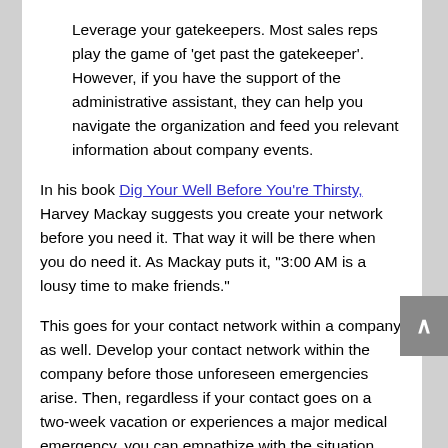Leverage your gatekeepers. Most sales reps play the game of 'get past the gatekeeper'.  However, if you have the support of the administrative assistant, they can help you navigate the organization and feed you relevant information about company events.
In his book Dig Your Well Before You're Thirsty, Harvey Mackay suggests you create your network before you need it. That way it will be there when you do need it.  As Mackay puts it,  "3:00 AM is a lousy time to make friends."
This goes for your contact network within a company as well. Develop your contact network within the company before those unforeseen emergencies arise.  Then, regardless if your contact goes on a two-week vacation or experiences a major medical emergency, you can empathize with the situation while maintaining your connection within the company.